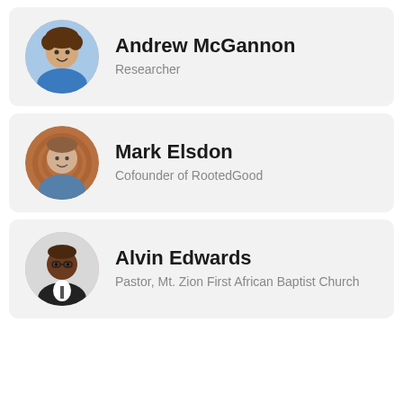[Figure (photo): Circular profile photo of Andrew McGannon, a young man with curly brown hair outdoors]
Andrew McGannon
Researcher
[Figure (photo): Circular profile photo of Mark Elsdon, a middle-aged man smiling in front of a patterned background]
Mark Elsdon
Cofounder of RootedGood
[Figure (photo): Circular profile photo of Alvin Edwards, an older African American man in a suit and tie]
Alvin Edwards
Pastor, Mt. Zion First African Baptist Church